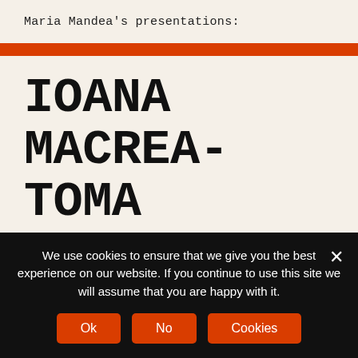Maria Mandea's presentations:
IOANA MACREA-TOMA
http://www.osaarchivum.org/about/staff-list/Ioana-Macrea-Toma
We use cookies to ensure that we give you the best experience on our website. If you continue to use this site we will assume that you are happy with it.
Ok | No | Cookies